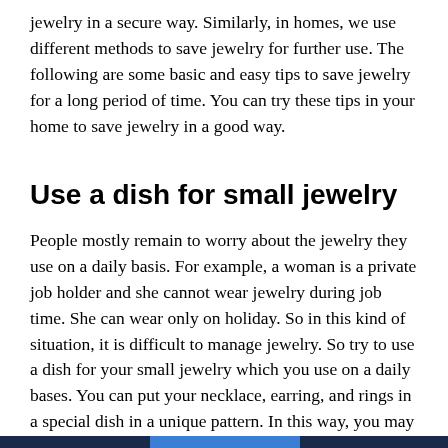jewelry in a secure way. Similarly, in homes, we use different methods to save jewelry for further use. The following are some basic and easy tips to save jewelry for a long period of time. You can try these tips in your home to save jewelry in a good way.
Use a dish for small jewelry
People mostly remain to worry about the jewelry they use on a daily basis. For example, a woman is a private job holder and she cannot wear jewelry during job time. She can wear only on holiday. So in this kind of situation, it is difficult to manage jewelry. So try to use a dish for your small jewelry which you use on a daily bases. You can put your necklace, earring, and rings in a special dish in a unique pattern. In this way, you may save your jewelry as well as save your time.